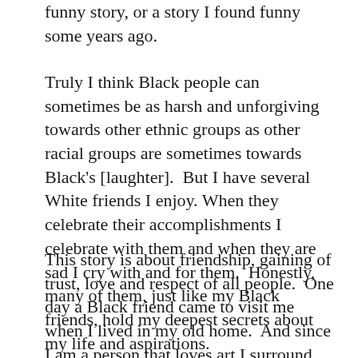funny story, or a story I found funny some years ago.
Truly I think Black people can sometimes be as harsh and unforgiving towards other ethnic groups as other racial groups are sometimes towards Black's [laughter].  But I have several White friends I enjoy. When they celebrate their accomplishments I celebrate with them and when they are sad I cry with and for them.  Honestly, many of them, just like my Black friends, hold my deepest secrets about my life and aspirations.
This story is about friendship, gaining of trust, love and respect of all people.  One day a Black friend came to visit me when I lived in my old home.  And since I am a person that loves art I surround myself with such beauty without bias.  I buy Black art, art with flowers or nature and art with people from